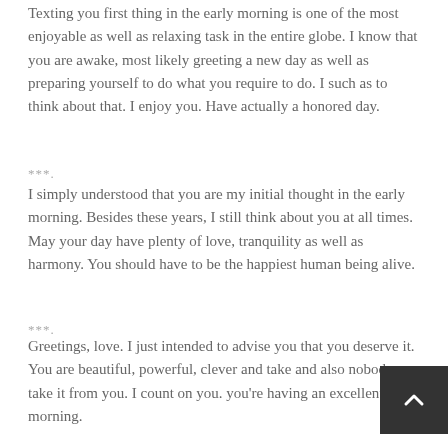Texting you first thing in the early morning is one of the most enjoyable as well as relaxing task in the entire globe. I know that you are awake, most likely greeting a new day as well as preparing yourself to do what you require to do. I such as to think about that. I enjoy you. Have actually a honored day.
***
I simply understood that you are my initial thought in the early morning. Besides these years, I still think about you at all times. May your day have plenty of love, tranquility as well as harmony. You should have to be the happiest human being alive.
***
Greetings, love. I just intended to advise you that you deserve it. You are beautiful, powerful, clever and take and also nobody can take it from you. I count on you. you're having an excellent morning.